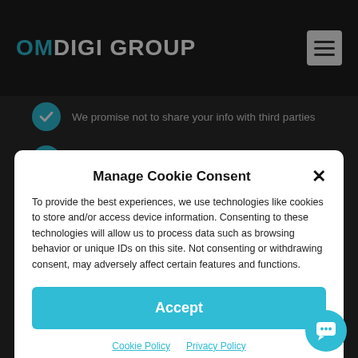OMDIGI GROUP
We promise not to share your info with third parties
We promise not to drunk text you on a Friday night
Manage Cookie Consent
To provide the best experiences, we use technologies like cookies to store and/or access device information. Consenting to these technologies will allow us to process data such as browsing behavior or unique IDs on this site. Not consenting or withdrawing consent, may adversely affect certain features and functions.
Accept
Cookie Policy   Privacy Policy